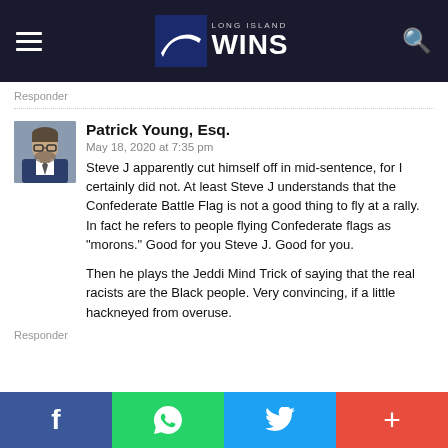Long Island WINS
Responder
Patrick Young, Esq.
May 18, 2020 at 7:35 pm
Steve J apparently cut himself off in mid-sentence, for I certainly did not. At least Steve J understands that the Confederate Battle Flag is not a good thing to fly at a rally. In fact he refers to people flying Confederate flags as "morons." Good for you Steve J. Good for you.

Then he plays the Jeddi Mind Trick of saying that the real racists are the Black people. Very convincing, if a little hackneyed from overuse.
Responder